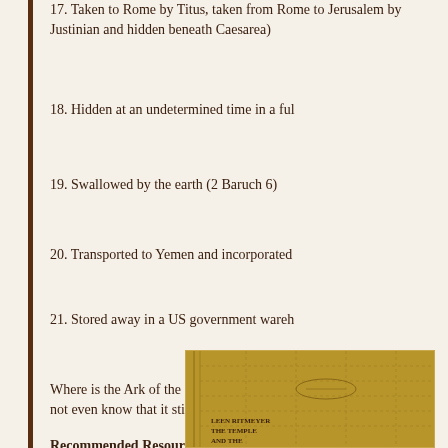17. Taken to Rome by Titus, taken from Rome to Jerusalem by Justinian and hidden beneath Caesarea)
18. Hidden at an undetermined time in a ful
19. Swallowed by the earth (2 Baruch 6)
20. Transported to Yemen and incorporated
21. Stored away in a US government wareh
Where is the Ark of the Covenant today? If not even know that it still exists. Wherever
Recommended Resources for Further Study
[Figure (photo): Book cover image showing a golden/ochre colored book cover with text 'LEEN RITMEYER' and 'THE TEMPLE AND THE' visible at the bottom]